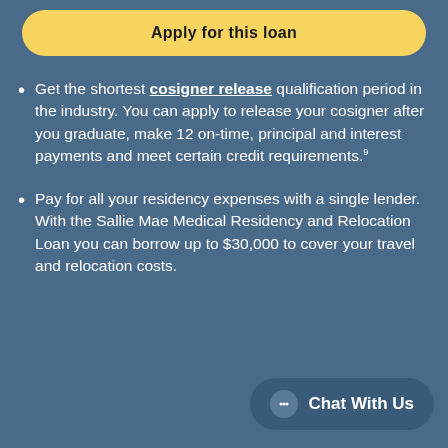Apply for this loan
Get the shortest cosigner release qualification period in the industry. You can apply to release your cosigner after you graduate, make 12 on-time, principal and interest payments and meet certain credit requirements.⁹
Pay for all your residency expenses with a single lender. With the Sallie Mae Medical Residency and Relocation Loan you can borrow up to $30,000 to cover your travel and relocation costs.
Chat With Us